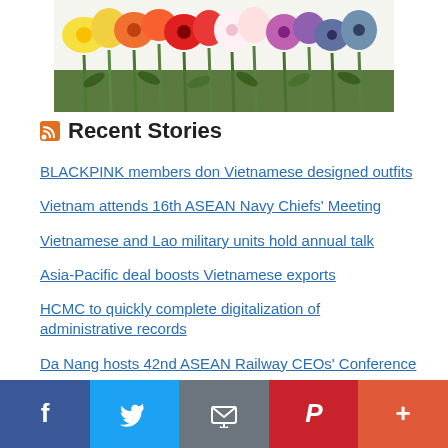[Figure (photo): Colorful arrangement of flowers including yellow, orange, red, white, and purple blooms laid flat against a white background]
Recent Stories
BLACKPINK members don Vietnamese designed outfits
Vietnam attends 16th ASEAN Navy Chiefs' Meeting
Vietnamese and Lao military units hold annual talk
Asia-Pacific deal boosts Vietnamese exports
HCMC to quickly complete digitalization of administrative records
Da Nang hosts 42nd ASEAN Railway CEOs' Conference
BridgeFest Music Festival 2022 to take place in Da Nang
Social sharing bar: Facebook, Twitter, Email, Pinterest, More